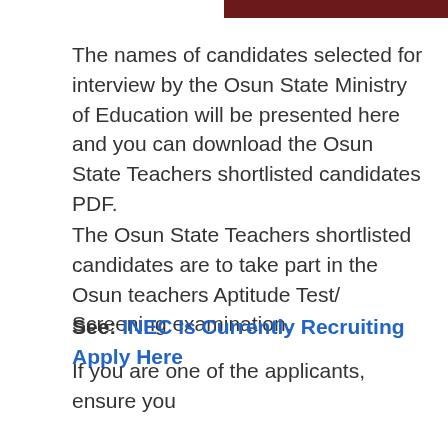[Figure (photo): Partial dark red/maroon banner image at the top right of the page]
The names of candidates selected for interview by the Osun State Ministry of Education will be presented here and you can download the Osun State Teachers shortlisted candidates PDF.
The Osun State Teachers shortlisted candidates are to take part in the Osun teachers Aptitude Test/ Screening examination.
See: INEC Is Currently Recruiting Apply Here
If you are one of the applicants, ensure you